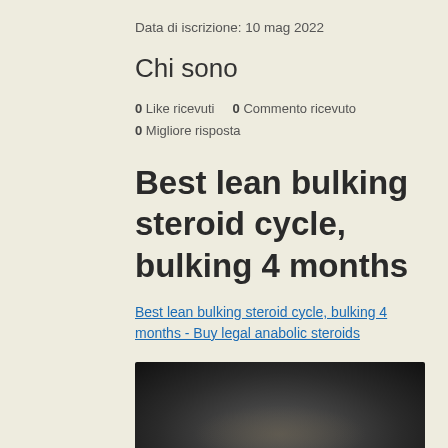Data di iscrizione: 10 mag 2022
Chi sono
0 Like ricevuti   0 Commento ricevuto
0 Migliore risposta
Best lean bulking steroid cycle, bulking 4 months
Best lean bulking steroid cycle, bulking 4 months - Buy legal anabolic steroids
[Figure (photo): Blurred dark photograph, content indistinct]